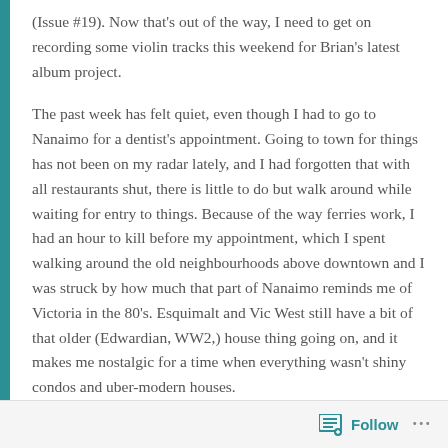(Issue #19). Now that's out of the way, I need to get on recording some violin tracks this weekend for Brian's latest album project.
The past week has felt quiet, even though I had to go to Nanaimo for a dentist's appointment. Going to town for things has not been on my radar lately, and I had forgotten that with all restaurants shut, there is little to do but walk around while waiting for entry to things. Because of the way ferries work, I had an hour to kill before my appointment, which I spent walking around the old neighbourhoods above downtown and I was struck by how much that part of Nanaimo reminds me of Victoria in the 80's. Esquimalt and Vic West still have a bit of that older (Edwardian, WW2,) house thing going on, and it makes me nostalgic for a time when everything wasn't shiny condos and uber-modern houses.
Follow ···